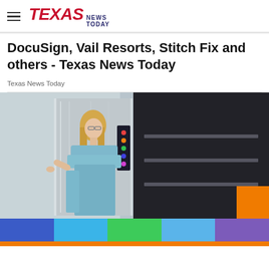TEXAS NEWS TODAY
DocuSign, Vail Resorts, Stitch Fix and others - Texas News Today
Texas News Today
[Figure (photo): Woman in a light blue off-shoulder ruffled dress standing near a modern elevator with shiny metallic doors and colorful control buttons.]
[Figure (infographic): Horizontal color bar strip with five colors: dark blue, light blue, green, medium blue, and purple. An orange rectangle is in the bottom-right of the photo area. An orange bottom bar runs the full width.]